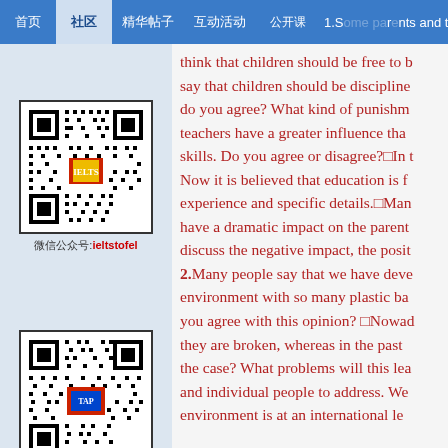Navigation bar with items: 首页, 社区, 精华帖子, 互动活动, 公开课
[Figure (other): QR code with label 微信公众号:ieltstofel]
微信公众号:ieltstofel
[Figure (other): QR code with label 微信群：504918228]
微信群：504918228
1.Some parents and teachers think that children should be free to be... say that children should be disciplined... do you agree? What kind of punishment... teachers have a greater influence than... skills. Do you agree or disagree?□In t... Now it is believed that education is f... experience and specific details.□Many... have a dramatic impact on the parent... discuss the negative impact, the posit... 2.Many people say that we have deve... environment with so many plastic ba... you agree with this opinion? □Nowad... they are broken, whereas in the past ... the case? What problems will this lea... and individual people to address. We... environment is at an international le...